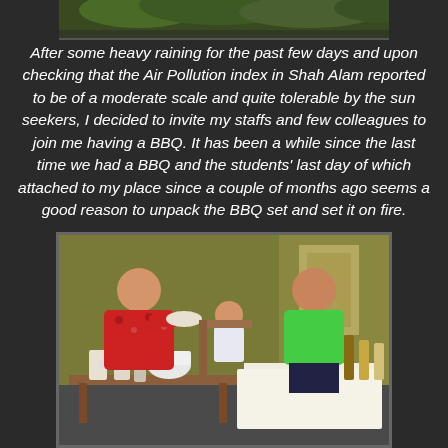[Figure (photo): Top portion of an outdoor photo showing green foliage/trees against a dark background]
After some heavy raining for the past few days and upon checking that the Air Pollution index in Shah Alam reported to be of a moderate scale and quite tolerable by the sun seekers, I decided to invite my staffs and few colleagues to join me having a BBQ. It has been a while since the last time we had a BBQ and the students' last day of which attached to my place since a couple of months ago seems a good reason to unpack the BBQ set and set it on fire.
[Figure (photo): Indoor photo of people at a BBQ gathering. A man in a red floral shirt holds a plate on the left, a child sits in the middle, and a person in a green shirt sits on the right. Tables in the foreground have drinks, cups, bowls, and snacks including a large red-lidded jar.]